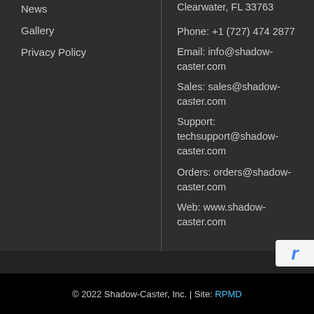News
Gallery
Privacy Policy
Clearwater, FL 33763
Phone: +1 (727) 474 2877
Email: info@shadow-caster.com
Sales: sales@shadow-caster.com
Support: techsupport@shadow-caster.com
Orders: orders@shadow-caster.com
Web: www.shadow-caster.com
© 2022 Shadow-Caster, Inc. | Site: RPMD